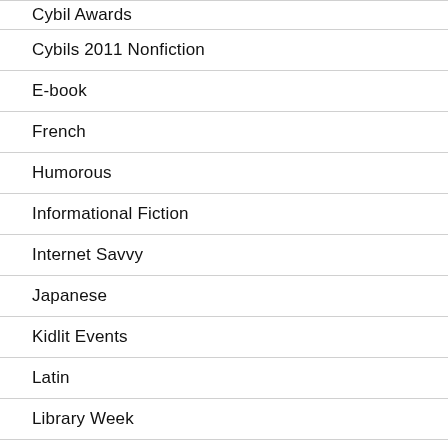Cybil Awards
Cybils 2011 Nonfiction
E-book
French
Humorous
Informational Fiction
Internet Savvy
Japanese
Kidlit Events
Latin
Library Week